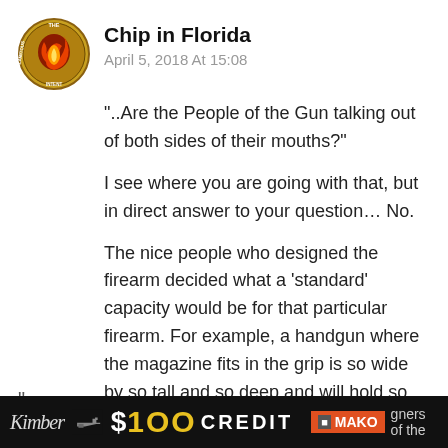[Figure (logo): Circular logo with dragon/fire imagery and text 'CALAMITOUS INTENT' around the border]
Chip in Florida
April 5, 2018 At 15:08
“..Are the People of the Gun talking out of both sides of their mouths?”
I see where you are going with that, but in direct answer to your question… No.
The nice people who designed the firearm decided what a ‘standard’ capacity would be for that particular firearm. For example, a handgun where the magazine fits in the grip is so wide by so tall and so deep and will hold so many bullets. That is the ‘standard’ capacity and anyone who thinks it should be something else should explain why. And you are going to have to work hard to explain why the
”
[Figure (screenshot): Advertisement bar showing Kimber logo, handgun image, $100 CREDIT text, MAKO brand logo, and partial text 'gners of the']